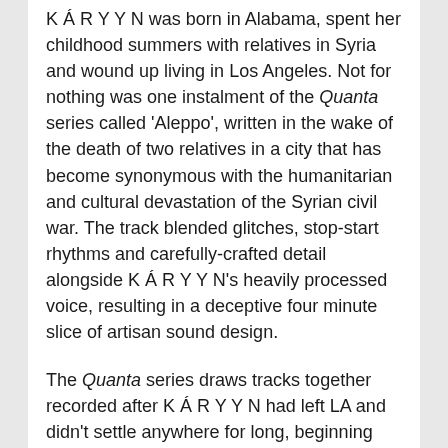K Á R Y Y N was born in Alabama, spent her childhood summers with relatives in Syria and wound up living in Los Angeles. Not for nothing was one instalment of the Quanta series called 'Aleppo', written in the wake of the death of two relatives in a city that has become synonymous with the humanitarian and cultural devastation of the Syrian civil war. The track blended glitches, stop-start rhythms and carefully-crafted detail alongside K Á R Y Y N's heavily processed voice, resulting in a deceptive four minute slice of artisan sound design.
The Quanta series draws tracks together recorded after K Á R Y Y N had left LA and didn't settle anywhere for long, beginning with 2011's 'Today I Read Your Life Story 11:11'. The fact that the pieces were written over a seven year period means that listening to the entire series as a single album is like watching the gestation of K Á R Y Y N's creative sensibilities in slow motion. A pivotal point came in 2016 with the music she composed for Samantha Shay's Of Light, her score attracting the patronage of Marina Abramovic and Björk...